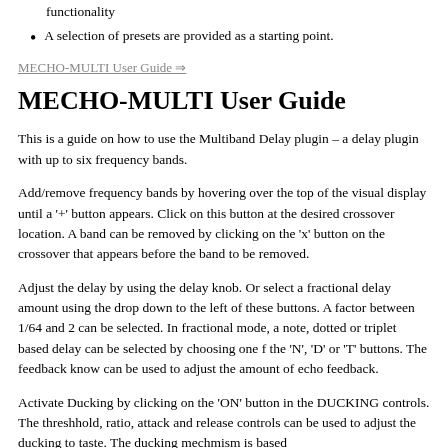functionality
A selection of presets are provided as a starting point.
MECHO-MULTI User Guide ⇒
MECHO-MULTI User Guide
This is a guide on how to use the Multiband Delay plugin – a delay plugin with up to six frequency bands.
Add/remove frequency bands by hovering over the top of the visual display until a '+' button appears. Click on this button at the desired crossover location. A band can be removed by clicking on the 'x' button on the crossover that appears before the band to be removed.
Adjust the delay by using the delay knob. Or select a fractional delay amount using the drop down to the left of these buttons. A factor between 1/64 and 2 can be selected. In fractional mode, a note, dotted or triplet based delay can be selected by choosing one f the 'N', 'D' or 'T' buttons. The feedback know can be used to adjust the amount of echo feedback.
Activate Ducking by clicking on the 'ON' button in the DUCKING controls. The threshhold, ratio, attack and release controls can be used to adjust the ducking to taste. The ducking mechmism is based